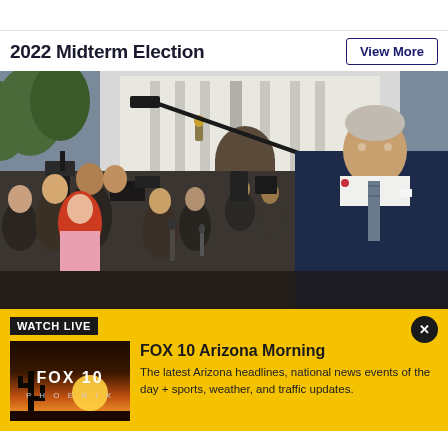2022 Midterm Election
View More
[Figure (photo): President Biden speaking to a large crowd of reporters and camera crews outside the White House, holding microphones toward him.]
WATCH LIVE
[Figure (logo): FOX 10 Phoenix logo on a sunset background thumbnail.]
FOX 10 Arizona Morning
The latest Arizona headlines, national news events of the day + sports, weather, and traffic updates.